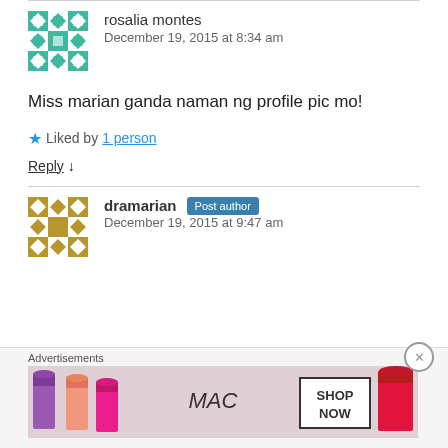rosalia montes
December 19, 2015 at 8:34 am
Miss marian ganda naman ng profile pic mo!
★ Liked by 1 person
Reply ↓
dramarian Post author
December 19, 2015 at 9:47 am
[Figure (illustration): MAC Cosmetics advertisement banner showing lipsticks and 'SHOP NOW' text]
Advertisements